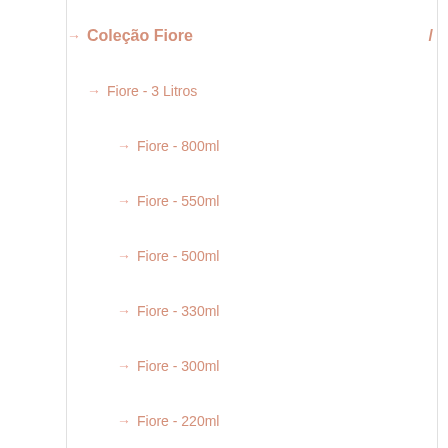Coleção Fiore
Fiore - 3 Litros
Fiore - 800ml
Fiore - 550ml
Fiore - 500ml
Fiore - 330ml
Fiore - 300ml
Fiore - 220ml
Coleção Patna
Patna - 3 Litros
Patna - 800ml
Patna - 550ml
Patna - 500ml